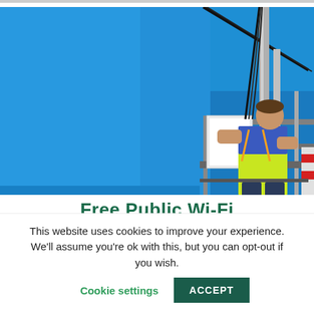[Figure (photo): A worker in a high-visibility vest and blue uniform standing on an elevated platform/cherry picker, installing or adjusting a white wireless router/Wi-Fi device on a metal pole against a clear blue sky.]
Free Public Wi-Fi
This website uses cookies to improve your experience. We'll assume you're ok with this, but you can opt-out if you wish.
Cookie settings   ACCEPT